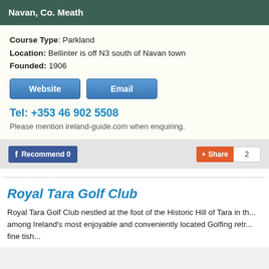Navan, Co. Meath
Course Type: Parkland
Location: Bellinter is off N3 south of Navan town
Founded: 1906
[Figure (other): Website and Email buttons]
Tel: +353 46 902 5508
Please mention ireland-guide.com when enquiring.
[Figure (other): Facebook Recommend 0 button and Share 2 button]
Royal Tara Golf Club
Royal Tara Golf Club nestled at the foot of the Historic Hill of Tara in th... among Ireland's most enjoyable and conveniently located Golfing retr... fine tish...